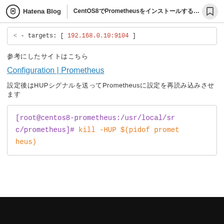Hatena Blog | CentOS8でPrometheusをインストールする方法
- targets: [ 192.168.0.10:9104 ]
参考にしたサイトはこちら
Configuration | Prometheus
設定後はHUPシグナルを送ってPrometheusに設定を再読み込みさせます
[root@centos8-prometheus:/usr/local/src/prometheus]# kill -HUP $(pidof prometheus)